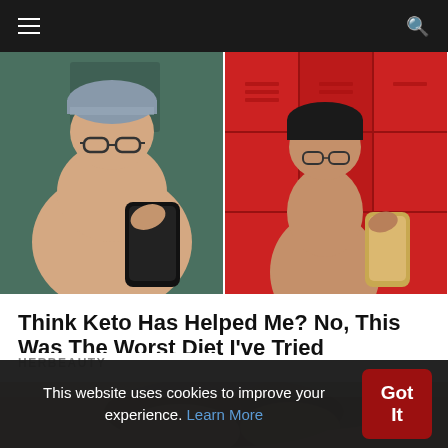Navigation bar with hamburger menu and search icon
[Figure (photo): Before and after weight loss comparison photos: left side shows a heavier person taking a shirtless mirror selfie wearing a beanie and glasses; right side shows the same person slimmer, taking a shirtless selfie in front of red lockers]
Think Keto Has Helped Me? No, This Was The Worst Diet I've Tried
HERBEAUTY
[Figure (photo): Partial image of a person lying down, appearing to be a second article thumbnail]
This website uses cookies to improve your experience. Learn More
Got It